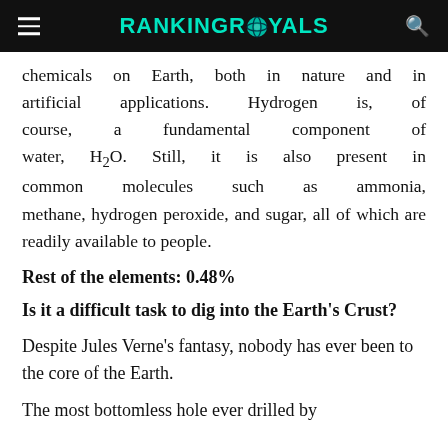RANKINGROYALS
chemicals on Earth, both in nature and in artificial applications. Hydrogen is, of course, a fundamental component of water, H2O. Still, it is also present in common molecules such as ammonia, methane, hydrogen peroxide, and sugar, all of which are readily available to people.
Rest of the elements: 0.48%
Is it a difficult task to dig into the Earth’s Crust?
Despite Jules Verne’s fantasy, nobody has ever been to the core of the Earth.
The most bottomless hole ever drilled by